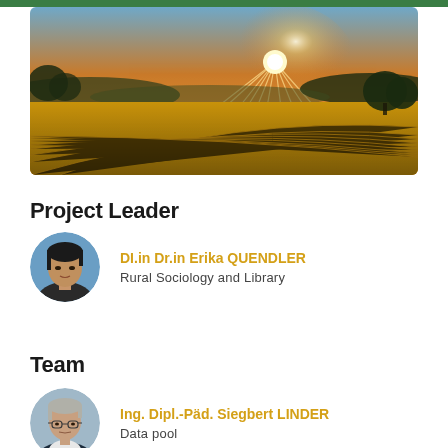[Figure (photo): Panoramic landscape photo of a wheat field at sunset with sun rays, rolling hills in the background, golden hour lighting]
Project Leader
[Figure (photo): Circular portrait photo of DI.in Dr.in Erika QUENDLER, a woman with dark hair]
DI.in Dr.in Erika QUENDLER
Rural Sociology and Library
Team
[Figure (photo): Circular portrait photo of Ing. Dipl.-Päd. Siegbert LINDER, an older man with glasses]
Ing. Dipl.-Päd. Siegbert LINDER
Data pool